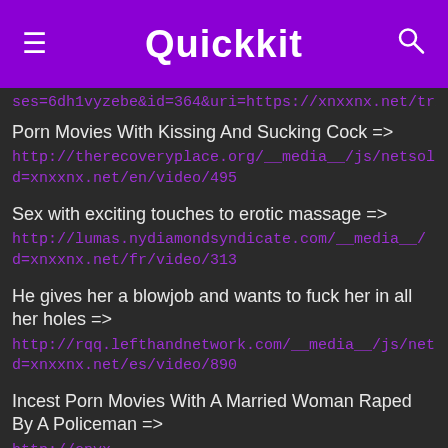Quickkit
ses=6dh1vyzebe&id=364&uri=https://xnxxnx.net/tr/v
Porn Movies With Kissing And Sucking Cock => http://therecoveryplace.org/__media__/js/netsoltrademark.php?d=xnxxnx.net/en/video/495
Sex with exciting touches to erotic massage => http://lumas.nydiamondsyndicate.com/__media__/js/netsoltrademark.php?d=xnxxnx.net/fr/video/313
He gives her a blowjob and wants to fuck her in all her holes => http://rqq.lefthandnetwork.com/__media__/js/netsoltrademark.php?d=xnxxnx.net/es/video/890
Incest Porn Movies With A Married Woman Raped By A Policeman => http://onyx-int.com/__media__/js/netsoltrademark.php?d=xnxxnx.net/fr/video/1288